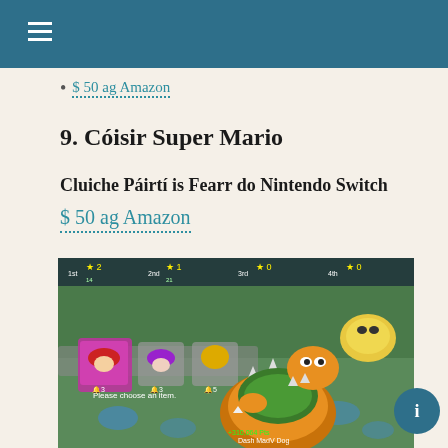≡
$ 50 ag Amazon
9. Cóisir Super Mario
Cluiche Páirtí is Fearr do Nintendo Switch
$ 50 ag Amazon
[Figure (screenshot): Screenshot of Super Mario Party game on Nintendo Switch showing Bowser character on a board game map with item selection screen showing mushroom items (x3, x3, x5)]